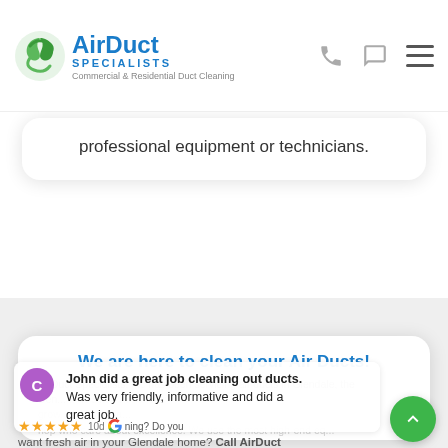AirDuct SPECIALISTS Commercial & Residential Duct Cleaning
professional equipment or technicians.
We are here to clean your Air Ducts!
John did a great job cleaning out ducts. Was very friendly, informative and did a great job.
Are your Glendale air ducts in need of cleaning? Do you want fresh air in your Glendale home? Call AirDuct